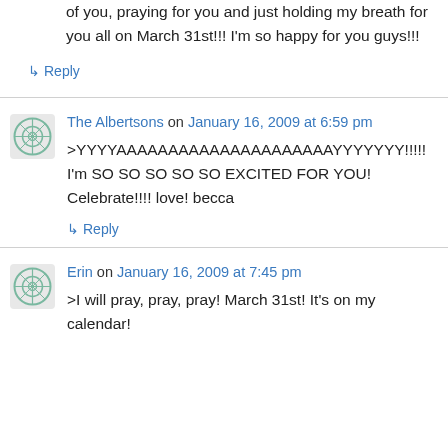of you, praying for you and just holding my breath for you all on March 31st!!! I'm so happy for you guys!!!
↳ Reply
The Albertsons on January 16, 2009 at 6:59 pm
>YYYYAAAAAAAAAAAAAAAAAAAAAYYYYYYY!!!!! I'm SO SO SO SO SO EXCITED FOR YOU! Celebrate!!!! love! becca
↳ Reply
Erin on January 16, 2009 at 7:45 pm
>I will pray, pray, pray! March 31st! It's on my calendar!